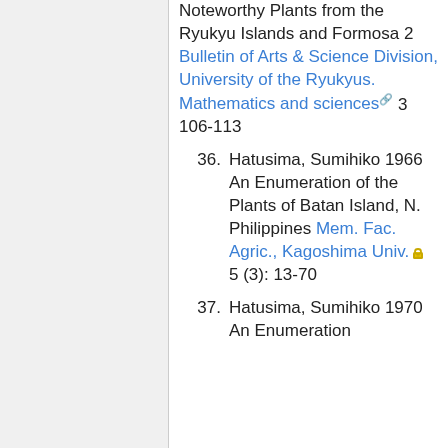Noteworthy Plants from the Ryukyu Islands and Formosa 2 Bulletin of Arts & Science Division, University of the Ryukyus. Mathematics and sciences 3 106-113
36. Hatusima, Sumihiko 1966 An Enumeration of the Plants of Batan Island, N. Philippines Mem. Fac. Agric., Kagoshima Univ. 5 (3): 13-70
37. Hatusima, Sumihiko 1970 An Enumeration...